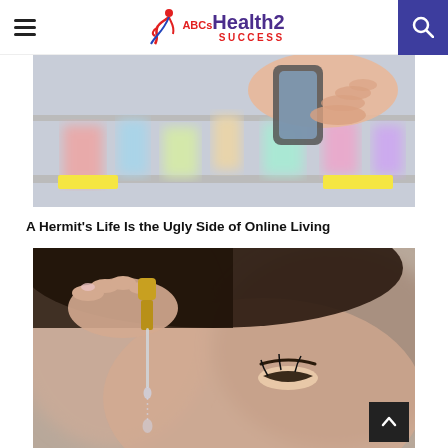ABCs Health2 Success
[Figure (photo): A person holding a smartphone in front of pharmacy shelves with various colorful product packaging.]
A Hermit’s Life Is the Ugly Side of Online Living
[Figure (photo): A close-up of a woman applying a serum or eye drops using a dropper, holding it near her eye.]